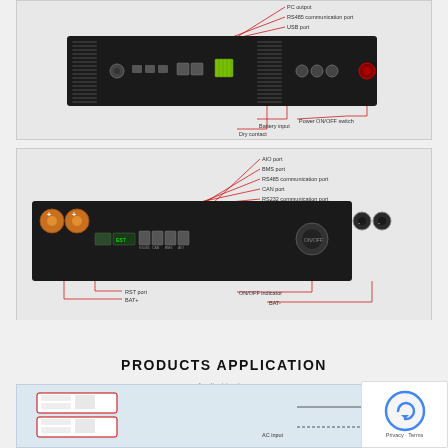[Figure (engineering-diagram): Top-view diagram of a device back panel showing PC output, RS485 communication port, USB port, Power ON/OFF switch, Battery input, Dry contact labels with red annotation lines pointing to components on a black device.]
[Figure (engineering-diagram): Bottom-view diagram of a device panel showing AIO port, BMS port, RS485 communication port, CAN port, RS232 communication port, RS485 communication port, RST port, BAT+, ON/OFF indicator, BAT- labels with red annotation lines pointing to components.]
PRODUCTS APPLICATION
Applicable place
[Figure (engineering-diagram): Products application diagram showing the device connected in a solar energy system with AC line and AC input labels visible.]